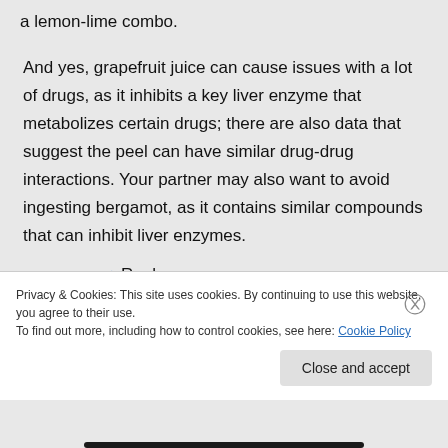a lemon-lime combo.
And yes, grapefruit juice can cause issues with a lot of drugs, as it inhibits a key liver enzyme that metabolizes certain drugs; there are also data that suggest the peel can have similar drug-drug interactions. Your partner may also want to avoid ingesting bergamot, as it contains similar compounds that can inhibit liver enzymes.
↩ Reply
Privacy & Cookies: This site uses cookies. By continuing to use this website, you agree to their use.
To find out more, including how to control cookies, see here: Cookie Policy